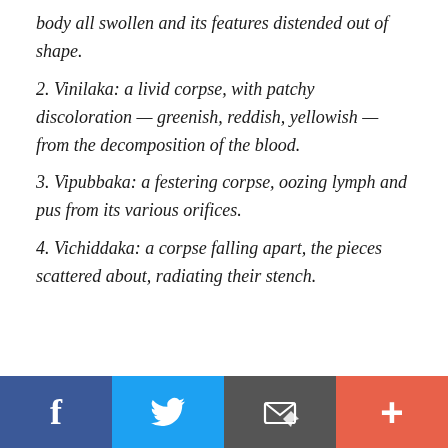body all swollen and its features distended out of shape.
2. Vinilaka: a livid corpse, with patchy discoloration — greenish, reddish, yellowish — from the decomposition of the blood.
3. Vipubbaka: a festering corpse, oozing lymph and pus from its various orifices.
4. Vichiddaka: a corpse falling apart, the pieces scattered about, radiating their stench.
[Figure (infographic): Social sharing bar with four buttons: Facebook (blue), Twitter (light blue), Email/share (dark grey), and More/plus (orange-red)]